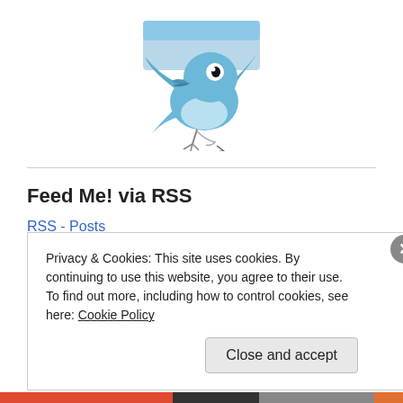[Figure (illustration): Blue cartoon Twitter bird illustration with light blue rectangular background banner at top]
Feed Me! via RSS
RSS - Posts
Privacy & Cookies: This site uses cookies. By continuing to use this website, you agree to their use.
To find out more, including how to control cookies, see here: Cookie Policy